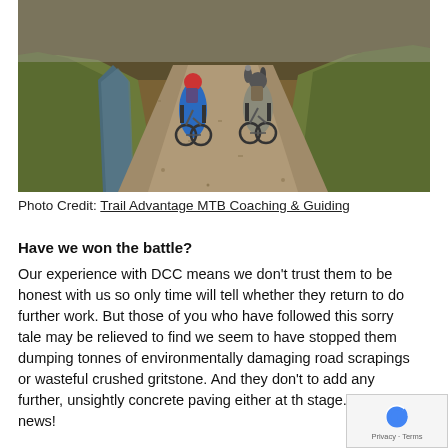[Figure (photo): Mountain bikers riding along a gravel trail through moorland with a stream on the left and grassy landscape on both sides. Lead rider wears a blue jacket and red helmet.]
Photo Credit: Trail Advantage MTB Coaching & Guiding
Have we won the battle?
Our experience with DCC means we don't trust them to be honest with us so only time will tell whether they return to do further work. But those of you who have followed this sorry tale may be relieved to find we seem to have stopped them dumping tonnes of environmentally damaging road scrapings or wasteful crushed gritstone. And they don't to add any further, unsightly concrete paving either at th stage. Great news!